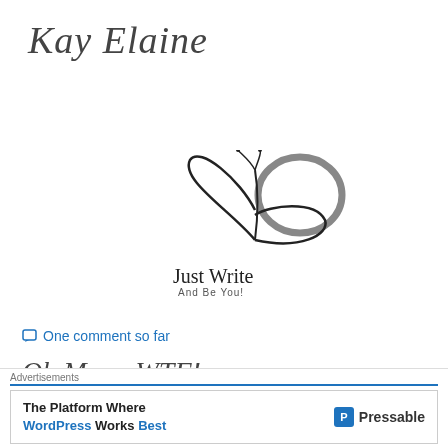[Figure (logo): Kay Elaine cursive/script signature logo in dark grey]
[Figure (logo): Butterfly with heart-shaped wings logo with text 'Just Write And Be You!']
One comment so far
Oh Man.. WTF!
12/02/2021  thoughts  Faith, Feelings, Grieving, hurt, JustWrite, life, Lost, Love, Music, Praying, thoughts
[Figure (screenshot): Advertisement banner: 'The Platform Where WordPress Works Best' - Pressable]